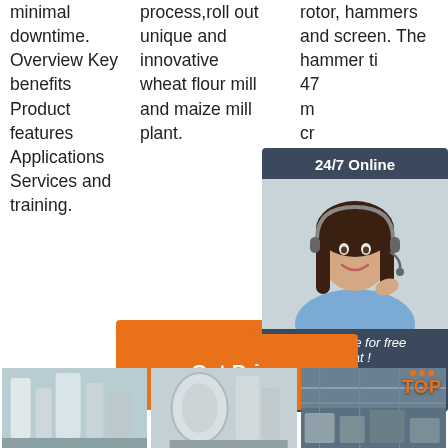minimal downtime. Overview Key benefits Product features Applications Services and training.
process,roll out unique and innovative wheat flour mill and maize mill plant.
rotor, hammers and screen. The hammer tip... 47... m... cr...
[Figure (infographic): 24/7 Online chat widget with woman wearing headset, 'Click here for free chat!' text, and QUOTATION button]
[Figure (photo): Get Price button (orange)]
[Figure (photo): Get Price button (orange, larger)]
[Figure (photo): Three industrial equipment/flour mill plant photos at bottom of page]